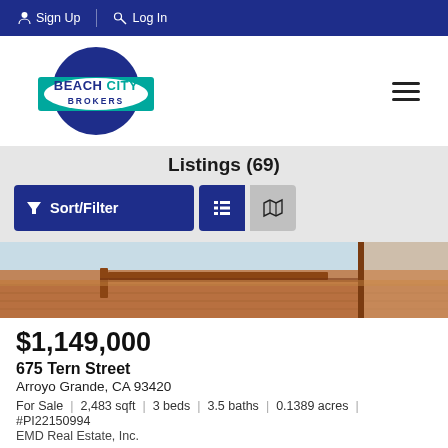Sign Up  Log In
[Figure (logo): Beach City Brokers logo — blue circle with teal rectangle and white oval, text BEACH CITY BROKERS]
Listings (69)
Sort/Filter  [list view icon]  [map icon]
[Figure (photo): Interior photo showing hardwood floor baseboards and a door frame]
$1,149,000
675 Tern Street
Arroyo Grande, CA 93420
For Sale  |  2,483 sqft  |  3 beds  |  3.5 baths  |  0.1389 acres  |  #PI22150994
EMD Real Estate, Inc.